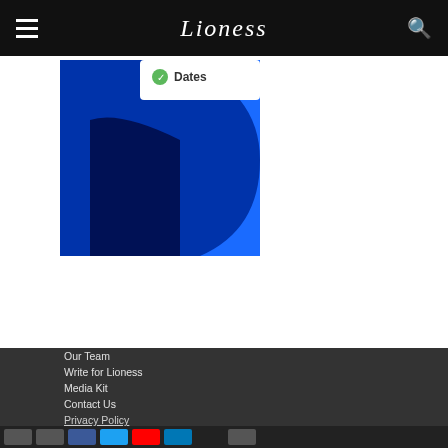Lioness
[Figure (screenshot): Partial screenshot of a mobile app or website showing a blue UI with a white card element and a green checkmark icon next to the word 'Dates']
Our Team
Write for Lioness
Media Kit
Contact Us
Privacy Policy
Social media share buttons row